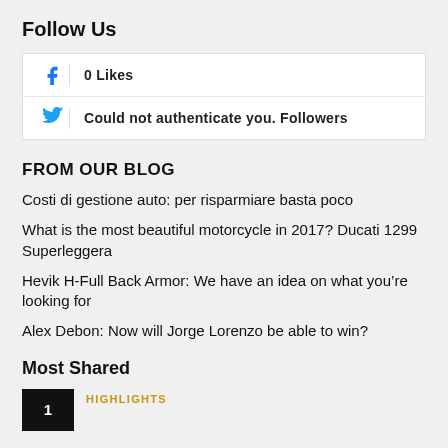Follow Us
| f icon | 0 Likes |
| twitter icon | Could not authenticate you. Followers |
FROM OUR BLOG
Costi di gestione auto: per risparmiare basta poco
What is the most beautiful motorcycle in 2017? Ducati 1299 Superleggera
Hevik H-Full Back Armor: We have an idea on what you’re looking for
Alex Debon: Now will Jorge Lorenzo be able to win?
Most Shared
1 — HIGHLIGHTS